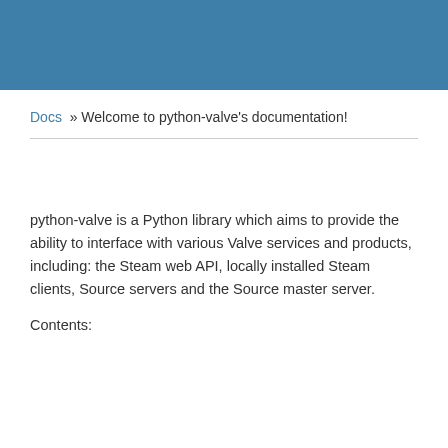Docs » Welcome to python-valve's documentation!
python-valve is a Python library which aims to provide the ability to interface with various Valve services and products, including: the Steam web API, locally installed Steam clients, Source servers and the Source master server.
Contents: